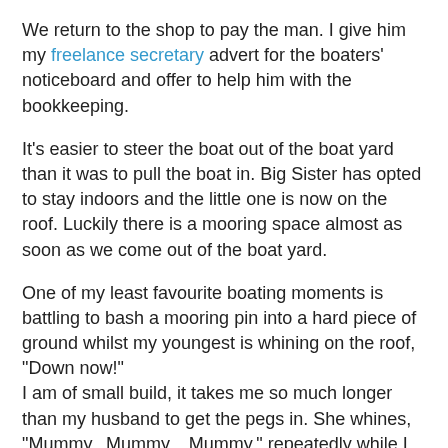We return to the shop to pay the man. I give him my freelance secretary advert for the boaters' noticeboard and offer to help him with the bookkeeping.
It's easier to steer the boat out of the boat yard than it was to pull the boat in. Big Sister has opted to stay indoors and the little one is now on the roof. Luckily there is a mooring space almost as soon as we come out of the boat yard.
One of my least favourite boating moments is battling to bash a mooring pin into a hard piece of ground whilst my youngest is whining on the roof,
"Down now!"
I am of small build, it takes me so much longer than my husband to get the pegs in. She whines,
"Mummy...Mummy... Mummy," repeatedly while I bang the peg with a mallet.
She wants to get off the boat. My temper snaps.
"Will you stop shouting at me? I'm mooring up the boat!"
A pang of guilt passes through me. Getting diesel and a pump-out is not a fun day out for the children. I promise